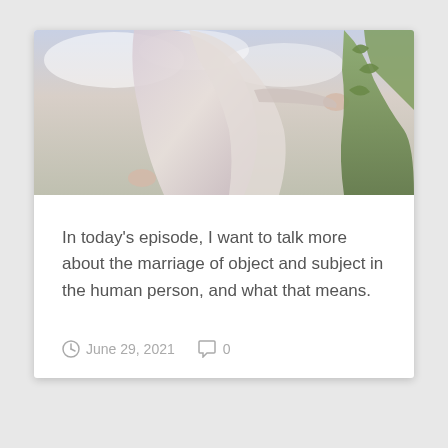[Figure (illustration): Painting of a robed figure (Jesus) with hands outstretched, soft sky and greenery in background — cropped at top of card]
In today's episode, I want to talk more about the marriage of object and subject in the human person, and what that means.
June 29, 2021   0